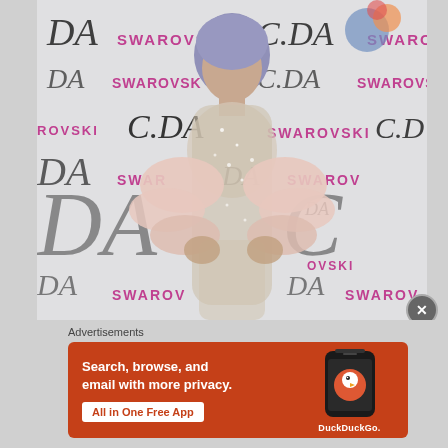[Figure (photo): A woman in a sheer crystal/rhinestone embellished bodysuit with pink fur stole accessories at what appears to be a CFDA and Swarovski branded event backdrop. She has lavender/grey hair.]
Advertisements
[Figure (infographic): DuckDuckGo advertisement banner on orange/red background. Text reads: Search, browse, and email with more privacy. All in One Free App. Shows DuckDuckGo app logo on a phone.]